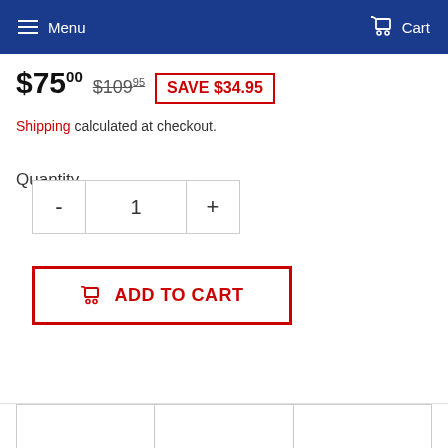Menu   Cart
$75.00  $109.95  SAVE $34.95
Shipping calculated at checkout.
Quantity
- 1 +
ADD TO CART